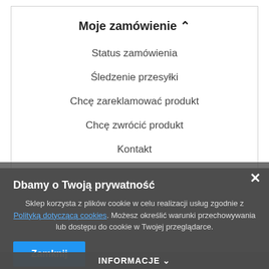Moje zamówienie ^
Status zamówienia
Śledzenie przesyłki
Chcę zareklamować produkt
Chcę zwrócić produkt
Kontakt
Dbamy o Twoją prywatność
Sklep korzysta z plików cookie w celu realizacji usług zgodnie z Polityką dotyczącą cookies. Możesz określić warunki przechowywania lub dostępu do cookie w Twojej przeglądarce.
Zamknij
INFORMACJE